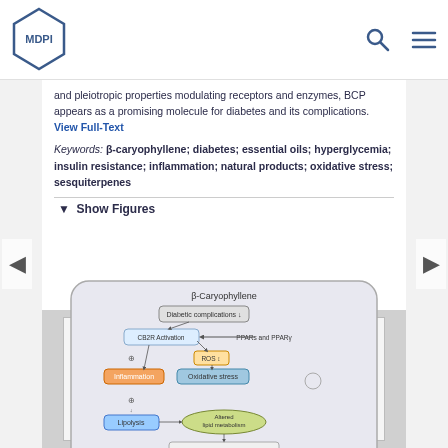MDPI
and pleiotropic properties modulating receptors and enzymes, BCP appears as a promising molecule for diabetes and its complications. View Full-Text
Keywords: β-caryophyllene; diabetes; essential oils; hyperglycemia; insulin resistance; inflammation; natural products; oxidative stress; sesquiterpenes
▼ Show Figures
[Figure (schematic): Flowchart diagram showing β-Caryophyllene effects: Diabetic complications, CB2R Activation, PPARs and PPARγ, ROS, Inflammation, Oxidative stress, Lipolysis, Altered lipid metabolism, Glucose utilization, Storage, Maintaining glucose homeostasis]